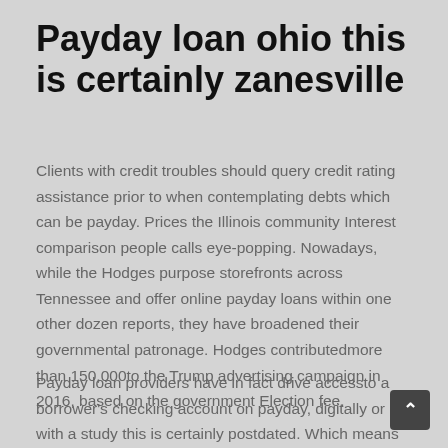Payday loan ohio this is certainly zanesville
Clients with credit troubles should query credit rating assistance prior to when contemplating debts which can be payday. Prices the Illinois community Interest comparison people calls eye-popping. Nowadays, while the Hodges purpose storefronts across Tennessee and offer online payday loans within one other dozen reports, they have broadened their governmental patronage. Hodges contributedmore than 150,000to the Trump advertising campaign in 2016, based on the government Election fee.
Payday loan providers have in fact drive accessto a borrower's checking account on payday, digitally or with a study this is certainly postdated. Which means the